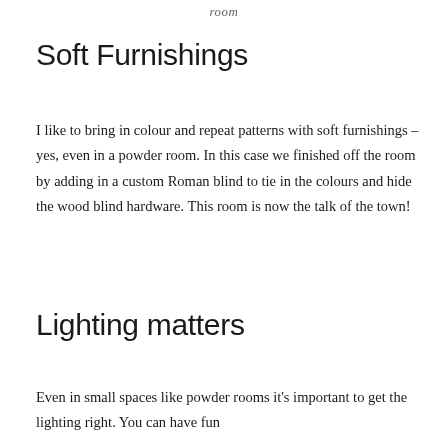room
Soft Furnishings
I like to bring in colour and repeat patterns with soft furnishings – yes, even in a powder room. In this case we finished off the room by adding in a custom Roman blind to tie in the colours and hide the wood blind hardware. This room is now the talk of the town!
Lighting matters
Even in small spaces like powder rooms it's important to get the lighting right. You can have fun